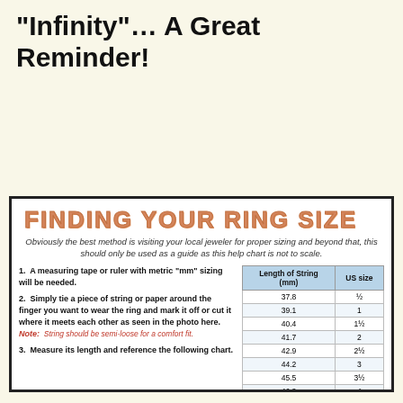“Infinity”… A Great Reminder!
FINDING YOUR RING SIZE
Obviously the best method is visiting your local jeweler for proper sizing and beyond that, this should only be used as a guide as this help chart is not to scale.
1.  A measuring tape or ruler with metric “mm” sizing will be needed.
2.  Simply tie a piece of string or paper around the finger you want to wear the ring and mark it off or cut it where it meets each other as seen in the photo here.
Note:  String should be semi-loose for a comfort fit.
3.  Measure its length and reference the following chart.
| Length of String (mm) | US size |
| --- | --- |
| 37.8 | ½ |
| 39.1 | 1 |
| 40.4 | 1½ |
| 41.7 | 2 |
| 42.9 | 2½ |
| 44.2 | 3 |
| 45.5 | 3½ |
| 46.8 | 4 |
| 48 | 4½ |